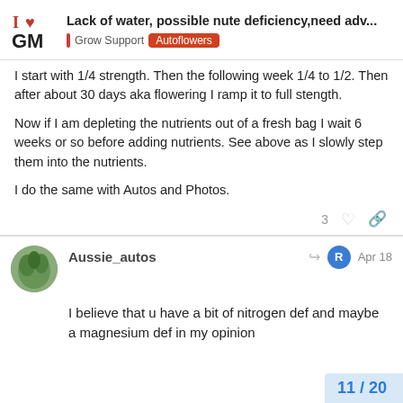Lack of water, possible nute deficiency,need adv... | Grow Support | Autoflowers
I start with 1/4 strength. Then the following week 1/4 to 1/2. Then after about 30 days aka flowering I ramp it to full stength.
Now if I am depleting the nutrients out of a fresh bag I wait 6 weeks or so before adding nutrients. See above as I slowly step them into the nutrients.
I do the same with Autos and Photos.
Aussie_autos  Apr 18
I believe that u have a bit of nitrogen def and maybe a magnesium def in my opinion
11 / 20